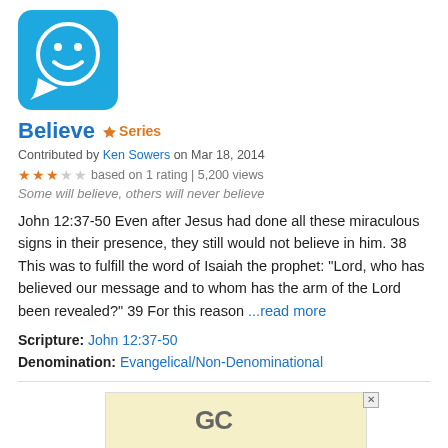[Figure (logo): Blue speech bubble icon with white smiley face]
Believe  Series
Contributed by Ken Sowers on Mar 18, 2014
3 stars out of 5 based on 1 rating | 5,200 views
Some will believe, others will never believe
John 12:37-50 Even after Jesus had done all these miraculous signs in their presence, they still would not believe in him. 38 This was to fulfill the word of Isaiah the prophet: "Lord, who has believed our message and to whom has the arm of the Lord been revealed?" 39 For this reason ...read more
Scripture: John 12:37-50
Denomination: Evangelical/Non-Denominational
[Figure (screenshot): Advertisement banner with yellow/cream background showing GC logo]